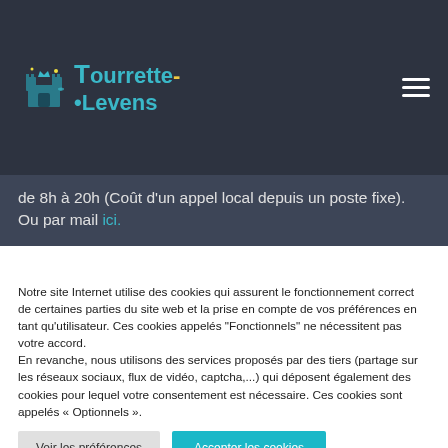[Figure (logo): Tourrette-Levens municipality logo with castle icon and teal text]
de 8h à 20h (Coût d'un appel local depuis un poste fixe). Ou par mail ici.
Notre site Internet utilise des cookies qui assurent le fonctionnement correct de certaines parties du site web et la prise en compte de vos préférences en tant qu'utilisateur. Ces cookies appelés "Fonctionnels" ne nécessitent pas votre accord.
En revanche, nous utilisons des services proposés par des tiers (partage sur les réseaux sociaux, flux de vidéo, captcha,...) qui déposent également des cookies pour lequel votre consentement est nécessaire. Ces cookies sont appelés « Optionnels ».